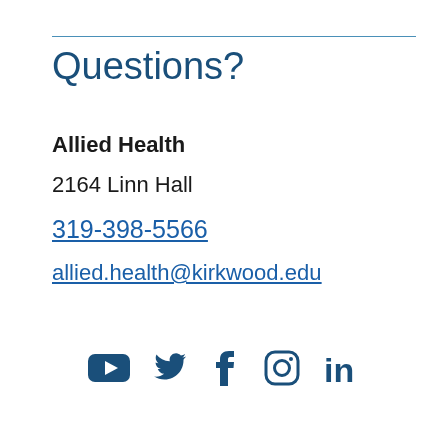Questions?
Allied Health
2164 Linn Hall
319-398-5566
allied.health@kirkwood.edu
[Figure (illustration): Social media icons: YouTube, Twitter, Facebook, Instagram, LinkedIn]